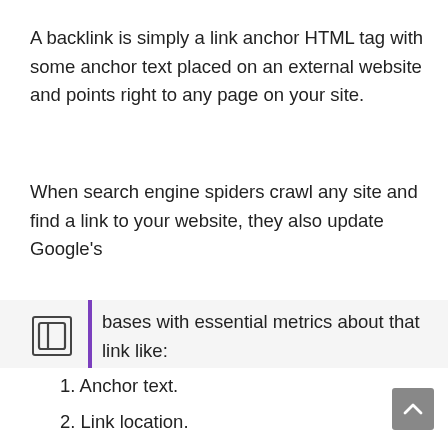A backlink is simply a link anchor HTML tag with some anchor text placed on an external website and points right to any page on your site.
When search engine spiders crawl any site and find a link to your website, they also update Google’s bases with essential metrics about that link like:
1. Anchor text.
2. Link location.
3. Link relevancy.
4. How authoritative the page that contains the link is?
5. The page depth, or how far that page is from the